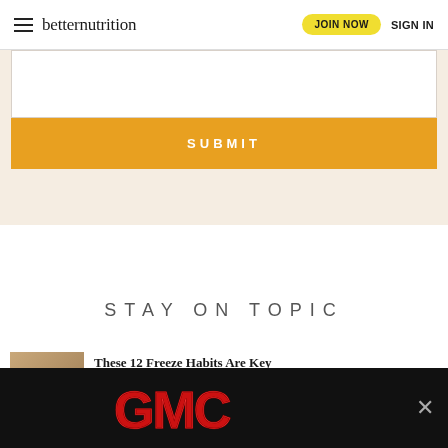≡ betternutrition  JOIN NOW  SIGN IN
[Figure (screenshot): Orange SUBMIT button on a light peach/beige form background]
STAY ON TOPIC
These 12 Freeze Habits Are Key For...
[Figure (photo): Article thumbnail image]
[Figure (logo): GMC advertisement banner with red GMC logo text on black background]